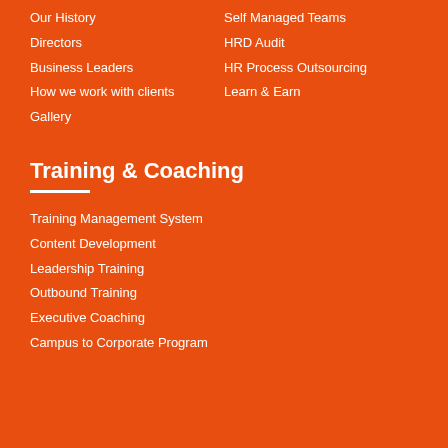Our History
Self Managed Teams
Directors
HRD Audit
Business Leaders
HR Process Outsourcing
How we work with clients
Learn & Earn
Gallery
Training & Coaching
Training Management System
Content Development
Leadership Training
Outbound Training
Executive Coaching
Campus to Corporate Program